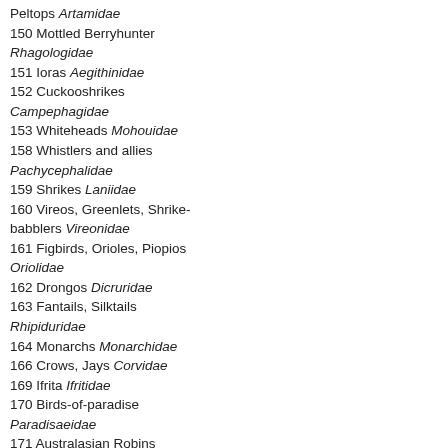Peltops Artamidae
150 Mottled Berryhunter Rhagologidae
151 Ioras Aegithinidae
152 Cuckooshrikes Campephagidae
153 Whiteheads Mohouidae
158 Whistlers and allies Pachycephalidae
159 Shrikes Laniidae
160 Vireos, Greenlets, Shrike-babblers Vireonidae
161 Figbirds, Orioles, Piopios Oriolidae
162 Drongos Dicruridae
163 Fantails, Silktails Rhipiduridae
164 Monarchs Monarchidae
166 Crows, Jays Corvidae
169 Ifrita Ifritidae
170 Birds-of-paradise Paradisaeidae
171 Australasian Robins Petroicidae
172 Rockfowl Picathartidae
173 Rockjumpers Chaetopidae
175 Waxwings Bombycillidae
176 Silky-flycatchers Ptiliogonatidae
177 Hypocolius Hypocoliidae